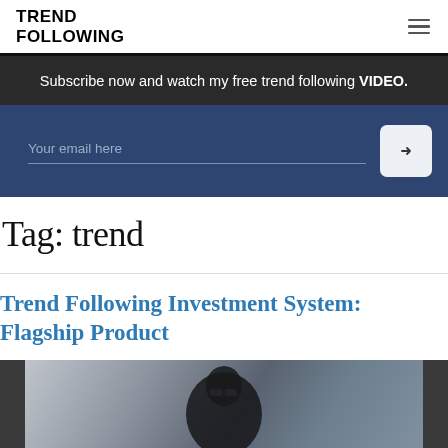TREND FOLLOWING
Subscribe now and watch my free trend following VIDEO.
Your email here
Tag: trend
Trend Following Investment System: Flagship Product
[Figure (photo): Photo of a man wearing glasses, partial view, blurred office/glass building background]